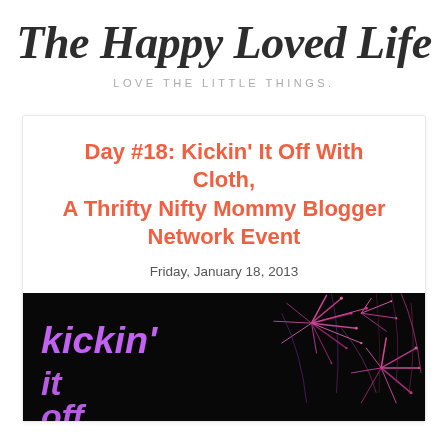The Happy Loved Life
LOVE THE LITTLE THINGS.
Day #18: Kickin' It Off With Cloth, A Thrifty Nifty Mommy Blogger Network Event
Friday, January 18, 2013
[Figure (photo): Event banner image with text 'kickin' it off' in purple neon letters on a black background with pink fireworks]